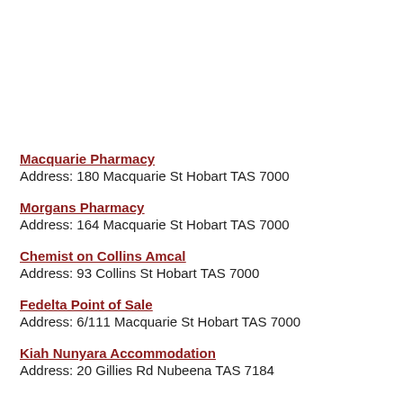Macquarie Pharmacy
Address: 180 Macquarie St Hobart TAS 7000
Morgans Pharmacy
Address: 164 Macquarie St Hobart TAS 7000
Chemist on Collins Amcal
Address: 93 Collins St Hobart TAS 7000
Fedelta Point of Sale
Address: 6/111 Macquarie St Hobart TAS 7000
Kiah Nunyara Accommodation
Address: 20 Gillies Rd Nubeena TAS 7184